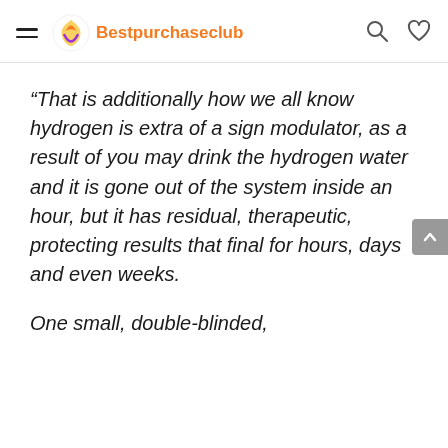Bestpurchaseclub
“That is additionally how we all know hydrogen is extra of a sign modulator, as a result of you may drink the hydrogen water and it is gone out of the system inside an hour, but it has residual, therapeutic, protecting results that final for hours, days and even weeks.
One small, double-blinded,